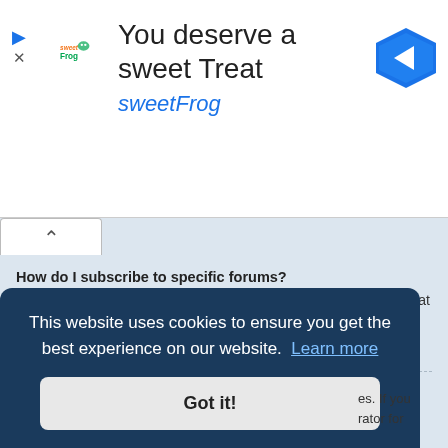[Figure (screenshot): SweetFrog advertisement banner with logo, tagline 'You deserve a sweet Treat', brand name 'sweetFrog', navigation arrow icon, play and close buttons]
How do I subscribe to specific forums?
To subscribe to a specific forum, click the “Subscribe forum” link, at the bottom of page, upon entering the forum.
Top
How do I remove my subscriptions?
To remove your subscriptions, go to your User Control Panel and follow the links to your subscriptions.
This website uses cookies to ensure you get the best experience on our website.  Learn more
Got it!
es. If you rator for